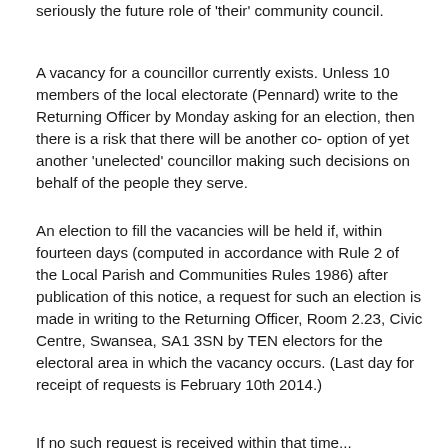I would urge the local people of Pennard to consider seriously the future role of 'their' community council.
A vacancy for a councillor currently exists. Unless 10 members of the local electorate (Pennard) write to the Returning Officer by Monday asking for an election, then there is a risk that there will be another co-option of yet another 'unelected' councillor making such decisions on behalf of the people they serve.
An election to fill the vacancies will be held if, within fourteen days (computed in accordance with Rule 2 of the Local Parish and Communities Rules 1986) after publication of this notice, a request for such an election is made in writing to the Returning Officer, Room 2.23, Civic Centre, Swansea, SA1 3SN by TEN electors for the electoral area in which the vacancy occurs. (Last day for receipt of requests is February 10th 2014.)
If no such request is received within that time...